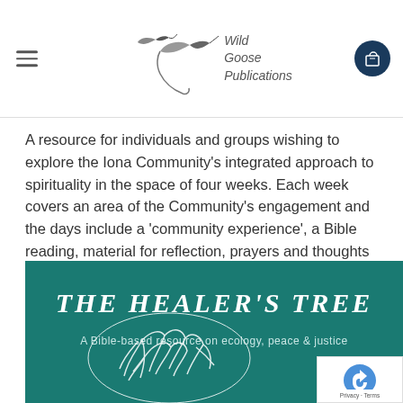Wild Goose Publications
A resource for individuals and groups wishing to explore the Iona Community's integrated approach to spirituality in the space of four weeks. Each week covers an area of the Community's engagement and the days include a 'community experience', a Bible reading, material for reflection, prayers and thoughts to ponder.
[Figure (photo): Book cover for 'The Healer's Tree: A Bible-based resource on ecology, peace & justice' — teal/dark green background with white calligraphic title text and a stylized white tree illustration]